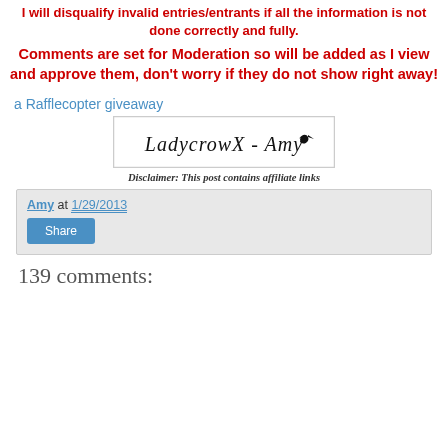I will disqualify invalid entries/entrants if all the information is not done correctly and fully.
Comments are set for Moderation so will be added as I view and approve them, don't worry if they do not show right away!
a Rafflecopter giveaway
[Figure (illustration): Signature graphic reading 'LadycrowX - Amy' in decorative cursive script with a small bird silhouette]
Disclaimer: This post contains affiliate links
Amy at 1/29/2013
Share
139 comments: